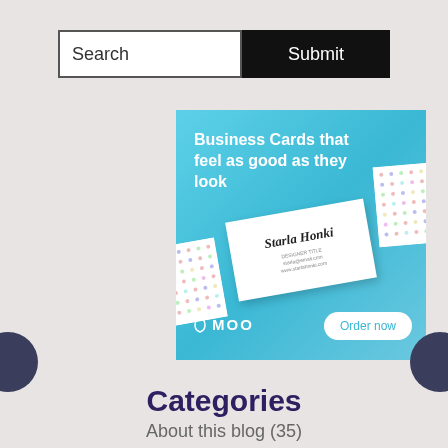[Figure (screenshot): Search bar with text input field labeled 'Search' and a black 'Submit' button]
[Figure (illustration): MOO business cards advertisement on cyan/teal background. Text reads 'Business Cards that feel as good as they look'. Shows business card for 'Starla Honki' with dotted pattern cards. MOO logo and 'Order now' button at bottom.]
Categories
About this blog (35)